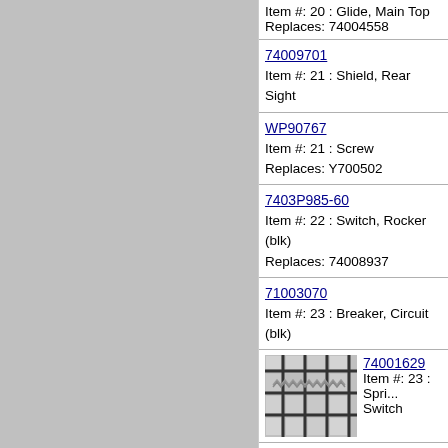Item #: 20 : Glide, Main Top
Replaces: 74004558
74009701
Item #: 21 : Shield, Rear Sight
WP90767
Item #: 21 : Screw
Replaces: Y700502
7403P985-60
Item #: 22 : Switch, Rocker (blk)
Replaces: 74008937
71003070
Item #: 23 : Breaker, Circuit (blk)
[Figure (photo): Spring component photo showing a coil spring within a grid/screen background]
74001629
Item #: 23 : Spring, Switch
71003068
Item #: 24 : Receptacle, Outlet (blk)
74001631
Item #: 24 : Bumper, Rod
74003562
Item #: 25 : Rod, Door Light Switch